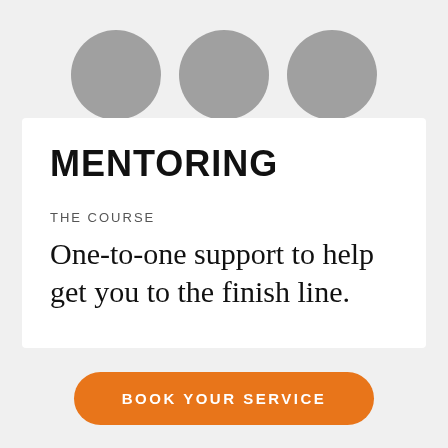[Figure (illustration): Three partially visible grey circular avatar silhouettes arranged in a row at the top of the page]
MENTORING
THE COURSE
One-to-one support to help get you to the finish line.
BOOK YOUR SERVICE